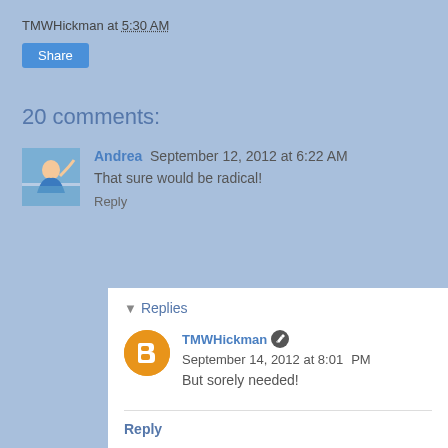TMWHickman at 5:30 AM
Share
20 comments:
Andrea  September 12, 2012 at 6:22 AM
That sure would be radical!
Reply
▼ Replies
TMWHickman  September 14, 2012 at 8:01 PM
But sorely needed!
Reply